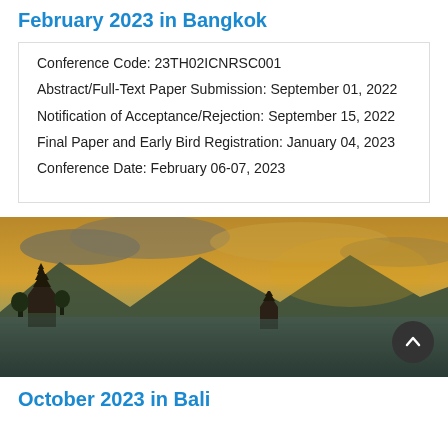February 2023 in Bangkok
Conference Code: 23TH02ICNRSC001
Abstract/Full-Text Paper Submission: September 01, 2022
Notification of Acceptance/Rejection: September 15, 2022
Final Paper and Early Bird Registration: January 04, 2023
Conference Date: February 06-07, 2023
[Figure (photo): Balinese temple on a lake with dramatic golden sky and mountains in background]
October 2023 in Bali